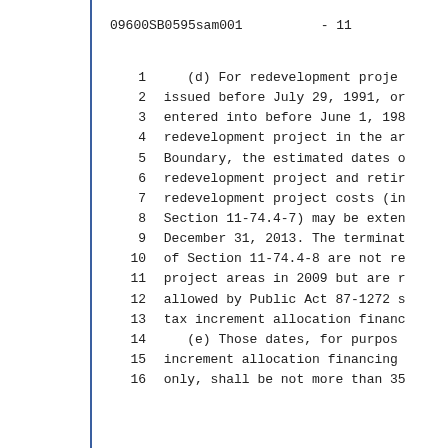09600SB0595sam001          - 11
1      (d) For redevelopment proje
2   issued before July 29, 1991, or
3   entered into before June 1, 198
4   redevelopment project in the ar
5   Boundary, the estimated dates o
6   redevelopment project and retir
7   redevelopment project costs (in
8   Section 11-74.4-7) may be exten
9   December 31, 2013. The terminat
10   of Section 11-74.4-8 are not re
11   project areas in 2009 but are r
12   allowed by Public Act 87-1272 s
13   tax increment allocation financ
14      (e) Those dates, for purpos
15   increment allocation financing
16   only, shall be not more than 35